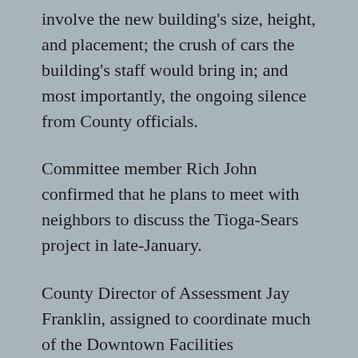involve the new building's size, height, and placement; the crush of cars the building's staff would bring in; and most importantly, the ongoing silence from County officials.
Committee member Rich John confirmed that he plans to meet with neighbors to discuss the Tioga-Sears project in late-January.
County Director of Assessment Jay Franklin, assigned to coordinate much of the Downtown Facilities redevelopment, told the Committee a repeatedly-delayed property closing on the parcels is scheduled for today (Jan. 3rd), one day after the buildings' final tenant vacates.